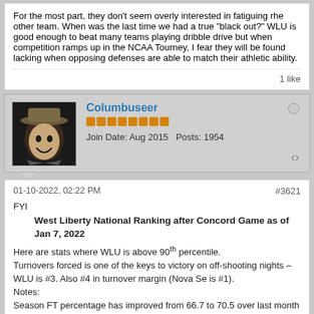For the most part, they don't seem overly interested in fatiguing rhe other team. When was the last time we had a true "black out?" WLU is good enough to beat many teams playing dribble drive but when competition ramps up in the NCAA Tourney, I fear they will be found lacking when opposing defenses are able to match their athletic ability.
1 like
Columbuseer
Join Date: Aug 2015   Posts: 1954
01-10-2022, 02:22 PM
#3621
FYI
West Liberty National Ranking after Concord Game as of Jan 7, 2022
Here are stats where WLU is above 90th percentile. Turnovers forced is one of the keys to victory on off-shooting nights – WLU is #3. Also #4 in turnover margin (Nova Se is #1). Notes: Season FT percentage has improved from 66.7 to 70.5 over last month Season Offensive rebounding per game has increased by 6% to over 14 Season 3 pt% holding steady at around 38%